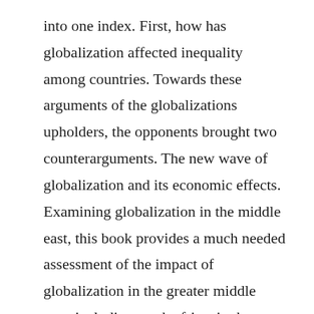into one index. First, how has globalization affected inequality among countries. Towards these arguments of the globalizations upholders, the opponents brought two counterarguments. The new wave of globalization and its economic effects. Examining globalization in the middle east, this book provides a much needed assessment of the impact of globalization in the greater middle east, including north africa, in the context of the powerful geopolitical forces at work in shaping the region today.